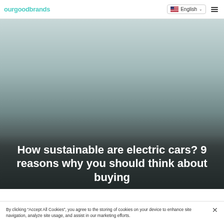ourgoodbrands — English
[Figure (photo): Hero background image showing a car or electric vehicle scene, fading from light grey-blue at top to dark charcoal at bottom]
How sustainable are electric cars? 9 reasons why you should think about buying
By clicking “Accept All Cookies”, you agree to the storing of cookies on your device to enhance site navigation, analyze site usage, and assist in our marketing efforts.